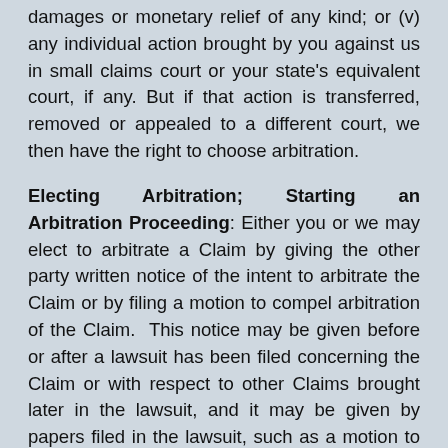damages or monetary relief of any kind; or (v) any individual action brought by you against us in small claims court or your state's equivalent court, if any. But if that action is transferred, removed or appealed to a different court, we then have the right to choose arbitration.
Electing Arbitration; Starting an Arbitration Proceeding: Either you or we may elect to arbitrate a Claim by giving the other party written notice of the intent to arbitrate the Claim or by filing a motion to compel arbitration of the Claim. This notice may be given before or after a lawsuit has been filed concerning the Claim or with respect to other Claims brought later in the lawsuit, and it may be given by papers filed in the lawsuit, such as a motion to compel arbitration. Each of the arbitration administrators listed below has specific rules for starting an arbitration proceeding. Regardless of who starts the arbitration proceeding,